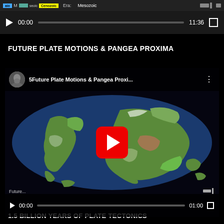[Figure (screenshot): Video player controls at top showing timeline with era labels (Paleozoic blue, Mesozoic green, Cenozoic yellow), play button, time 00:00 of 11:36]
FUTURE PLATE MOTIONS & PANGEA PROXIMA
[Figure (screenshot): YouTube video thumbnail showing future Earth map with Pangea Proxima supercontinent configuration, titled '5Future Plate Motions & Pangea Proxi...' with avatar of bearded man, red play button overlay, duration shows 00:00 / 01:00]
1.5 BILLION YEARS OF PLATE TECTONICS